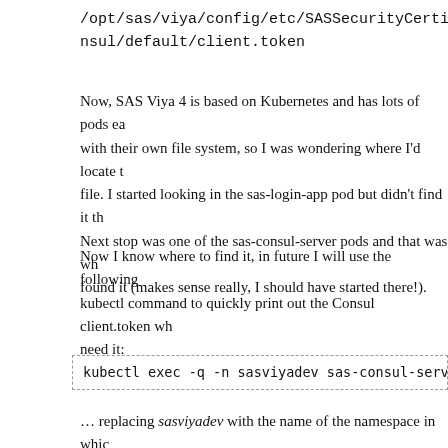/opt/sas/viya/config/etc/SASSecurityCertificateFramework/token/consul/default/client.token
Now, SAS Viya 4 is based on Kubernetes and has lots of pods each with their own file system, so I was wondering where I'd locate the file. I started looking in the sas-login-app pod but didn't find it there. Next stop was one of the sas-consul-server pods and that was where I found it (makes sense really, I should have started there!).
Now I know where to find it, in future I will use the following kubectl command to quickly print out the Consul client.token when I need it:
kubectl exec -q -n sasviyadev sas-consul-server
… replacing sasviyadev with the name of the namespace in which…